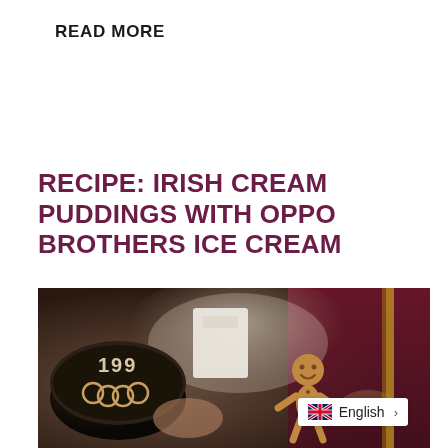READ MORE
RECIPE: IRISH CREAM PUDDINGS WITH OPPO BROTHERS ICE CREAM
by Hannah Strachan
December 16, 2020
[Figure (photo): Photo of Oppo Brothers ice cream tub with label showing '199', alongside gingerbread man figurine and baked goods, with dark red curtain background. Language switcher overlay showing English with UK flag.]